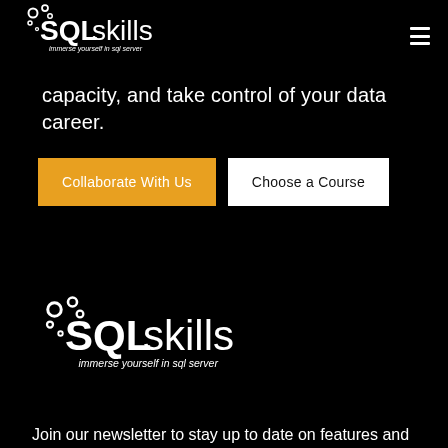SQLskills - immerse yourself in sql server
capacity, and take control of your data career.
[Figure (logo): SQLskills logo with tagline 'immerse yourself in sql server' - top navigation]
Collaborate With Us
Choose a Course
[Figure (logo): SQLskills logo with tagline 'immerse yourself in sql server' - footer section]
Join our newsletter to stay up to date on features and